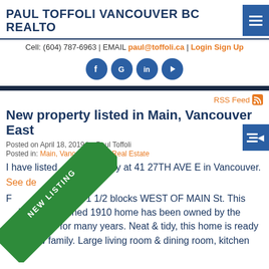PAUL TOFFOLI VANCOUVER BC REALTO
Cell: (604) 787-6963 | EMAIL paul@toffoli.ca | Login Sign Up
[Figure (logo): Social media icons: Facebook, Google, LinkedIn, YouTube]
RSS Feed
New property listed in Main, Vancouver East
Posted on April 18, 2019 by Paul Toffoli
Posted in: Main, Vancouver East Real Estate
I have listed a new property at 41 27TH AVE E in Vancouver.
See details here
[Figure (illustration): Green diagonal NEW LISTING banner/badge in bottom-left corner]
Fantastic location, 1 1/2 blocks WEST OF MAIN St. This lovingly maintained 1910 home has been owned by the same family for many years. Neat & tidy, this home is ready for a new family. Large living room & dining room, kitchen